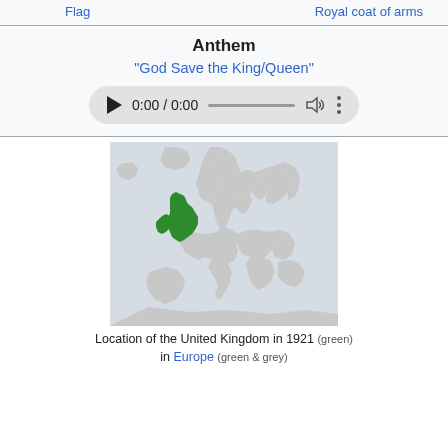Flag
Royal coat of arms
Anthem
"God Save the King/Queen"
[Figure (other): Audio player showing 0:00 / 0:00 with play button, progress bar, volume icon, and menu icon]
[Figure (map): Map showing location of the United Kingdom in 1921 highlighted in green in Europe, with surrounding countries in grey]
Location of the United Kingdom in 1921 (green) in Europe (green & grey)